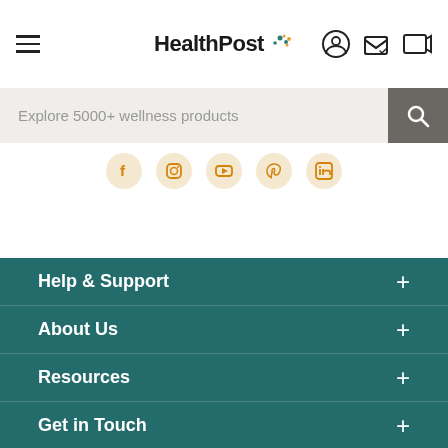[Figure (screenshot): HealthPost website header with hamburger menu, logo, user icon, and cart icon]
Explore 5000+ wellness products
[Figure (illustration): Social media icons: Facebook, Instagram, YouTube, Pinterest, LinkedIn on orange circular backgrounds]
Help & Support
About Us
Resources
Get in Touch